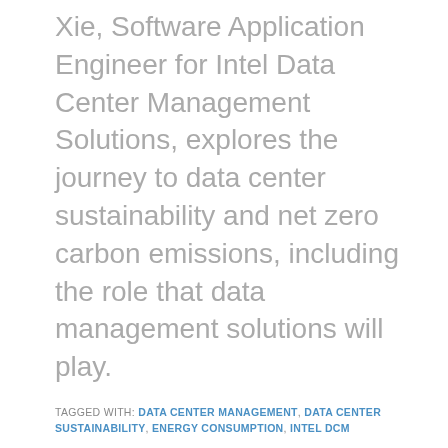Xie, Software Application Engineer for Intel Data Center Management Solutions, explores the journey to data center sustainability and net zero carbon emissions, including the role that data management solutions will play.
TAGGED WITH: DATA CENTER MANAGEMENT, DATA CENTER SUSTAINABILITY, ENERGY CONSUMPTION, INTEL DCM
Virtualization is a Necessity for Entertainment and Media Companies
BY KATHY HITCHENS – APRIL 22, 2022